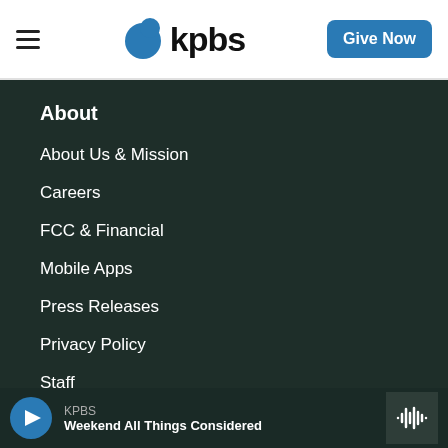KPBS | Give Now
About
About Us & Mission
Careers
FCC & Financial
Mobile Apps
Press Releases
Privacy Policy
Staff
KPBS — Weekend All Things Considered